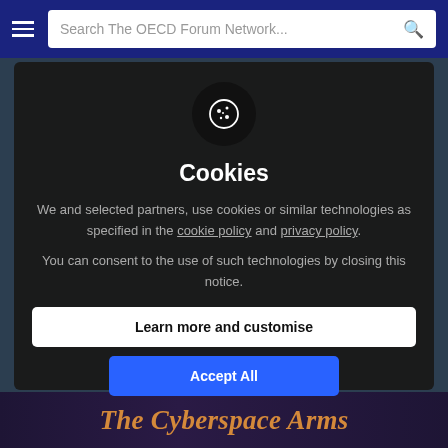Search The OECD Forum Network...
Cookies
We and selected partners, use cookies or similar technologies as specified in the cookie policy and privacy policy.
You can consent to the use of such technologies by closing this notice.
Learn more and customise
Accept All
The Cyberspace Arms